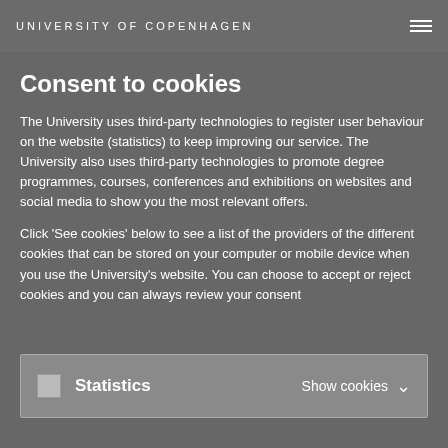UNIVERSITY OF COPENHAGEN
Consent to cookies
The University uses third-party technologies to register user behaviour on the website (statistics) to keep improving our service. The University also uses third-party technologies to promote degree programmes, courses, conferences and exhibitions on websites and social media to show you the most relevant offers.
Click 'See cookies' below to see a list of the providers of the different cookies that can be stored on your computer or mobile device when you use the University's website. You can choose to accept or reject cookies and you can always review your consent
Statistics   Show cookies